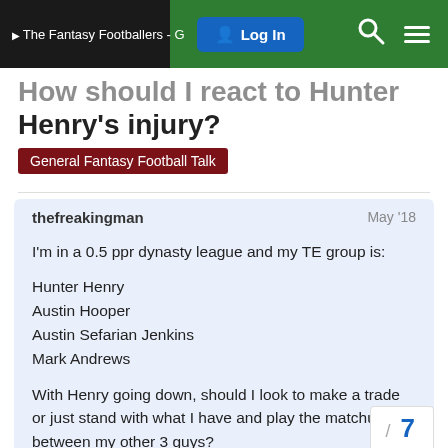The Fantasy Footballers - G | Log In
How should I react to Hunter Henry's injury?
General Fantasy Football Talk
thefreakingman — May '18

I'm in a 0.5 ppr dynasty league and my TE group is:

Hunter Henry
Austin Hooper
Austin Sefarian Jenkins
Mark Andrews

With Henry going down, should I look to make a trade or just stand with what I have and play the matchups between my other 3 guys?

FWIW, I have been offered 2 trade
/ 7